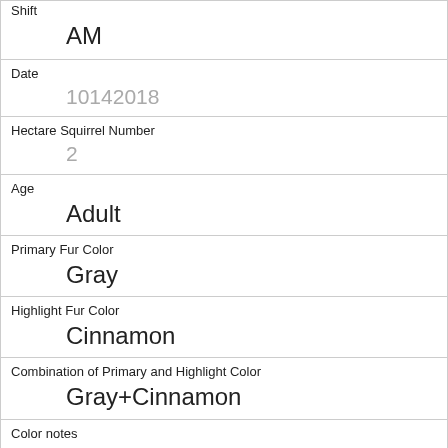Shift
AM
Date
10142018
Hectare Squirrel Number
2
Age
Adult
Primary Fur Color
Gray
Highlight Fur Color
Cinnamon
Combination of Primary and Highlight Color
Gray+Cinnamon
Color notes
Location
Above Ground
Above Ground Sighter Measurement
30